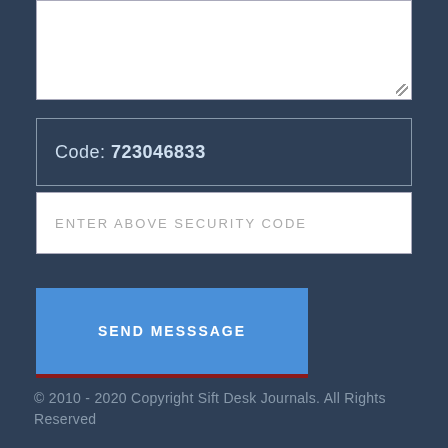[Figure (screenshot): White textarea input box with resize handle at bottom right]
Code: 723046833
[Figure (screenshot): White input field with placeholder text ENTER ABOVE SECURITY CODE]
SEND MESSSAGE
© 2010 - 2020 Copyright Sift Desk Journals. All Rights Reserved